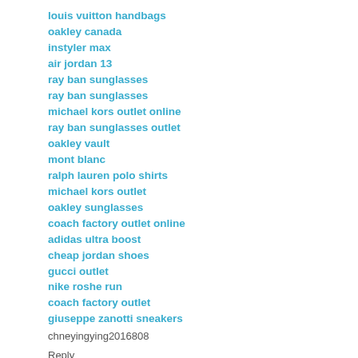louis vuitton handbags
oakley canada
instyler max
air jordan 13
ray ban sunglasses
ray ban sunglasses
michael kors outlet online
ray ban sunglasses outlet
oakley vault
mont blanc
ralph lauren polo shirts
michael kors outlet
oakley sunglasses
coach factory outlet online
adidas ultra boost
cheap jordan shoes
gucci outlet
nike roshe run
coach factory outlet
giuseppe zanotti sneakers
chneyingying2016808
Reply